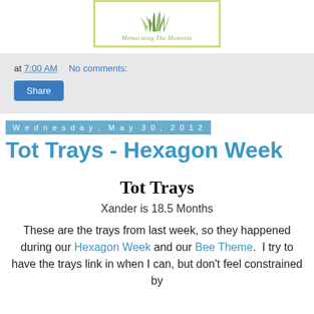[Figure (logo): Blog logo box with yellow-green border, plant illustration, and italic text 'Memorizing The Moments']
at 7:00 AM   No comments:
Share
Wednesday, May 30, 2012
Tot Trays - Hexagon Week
Tot Trays
Xander is 18.5 Months
These are the trays from last week, so they happened during our Hexagon Week and our Bee Theme.  I try to have the trays link in when I can, but don't feel constrained by